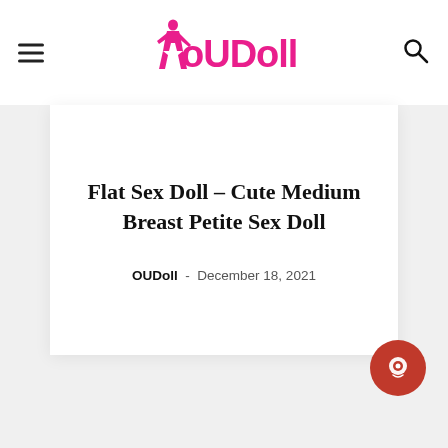OUDoll
Flat Sex Doll – Cute Medium Breast Petite Sex Doll
OUDoll - December 18, 2021
[Figure (other): Red circular chat/support button icon in bottom-right corner]